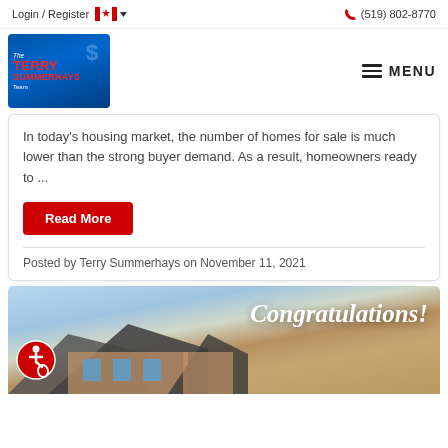Login / Register  🇨🇦  (519) 802-8770
[Figure (logo): The Terry Summerhays Team logo on blue background]
In today's housing market, the number of homes for sale is much lower than the strong buyer demand. As a result, homeowners ready to ...
Read More
Posted by Terry Summerhays on November 11, 2021
[Figure (photo): Congratulations banner over a house photo with brick exterior and blue sky]